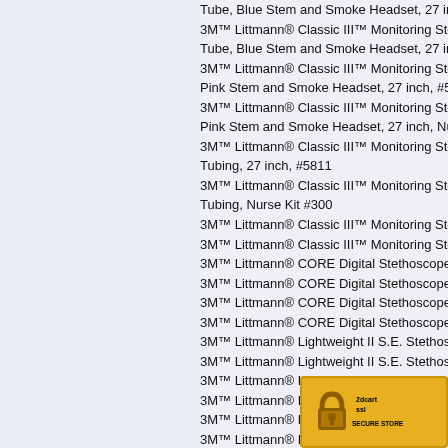Tube, Blue Stem and Smoke Headset, 27 inc…
3M™ Littmann® Classic III™ Monitoring Steth…
Tube, Blue Stem and Smoke Headset, 27 inc…
3M™ Littmann® Classic III™ Monitoring Steth…
Pink Stem and Smoke Headset, 27 inch, #587…
3M™ Littmann® Classic III™ Monitoring Steth…
Pink Stem and Smoke Headset, 27 inch, Nurs…
3M™ Littmann® Classic III™ Monitoring Steth…
Tubing, 27 inch, #5811
3M™ Littmann® Classic III™ Monitoring Steth…
Tubing, Nurse Kit #300
3M™ Littmann® Classic III™ Monitoring Steth…
3M™ Littmann® Classic III™ Monitoring Steth…
3M™ Littmann® CORE Digital Stethoscope, Headset, 27 inch, #8480 FREE ENGRAVING
3M™ Littmann® CORE Digital Stethoscope, Stem and Headset, 27 inch, #8870 FREE EN…
3M™ Littmann® CORE Digital Stethoscope, Stem and Headset, 27 inch, #8570 FREE EN…
3M™ Littmann® CORE Digital Stethoscope, and Headset, 27 inch, #8890 FREE ENGRAV…
3M™ Littmann® Lightweight II S.E. Stethosco…
3M™ Littmann® Lightweight II S.E. Stethosco…
3M™ Littmann® Lightweight II S.E. Stethosco…
3M™ Littmann® Lightweight II S.E. Steth…
3M™ Littmann® Lightweight II S.E. St…
3M™ Littmann® Lightweight II S.E.…
3M™ Littmann® Lightweight II S…
3M™ Master Cardi…